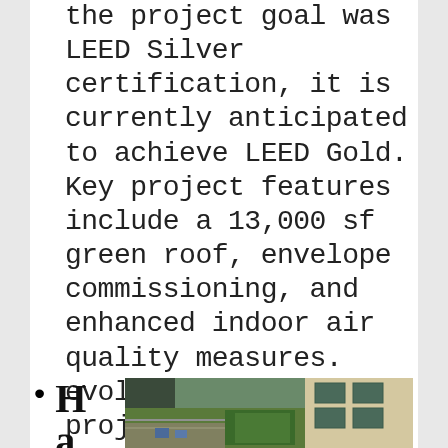the project goal was LEED Silver certification, it is currently anticipated to achieve LEED Gold. Key project features include a 13,000 sf green roof, envelope commissioning, and enhanced indoor air quality measures.  evolveEA drove the project team to consider, vet, review and achieve project goals.
Hamburg
[Figure (photo): Aerial/elevated view of a green roof on a building, showing green plantings, outdoor furniture (chairs), metal railings, and surrounding building facade with large windows.]